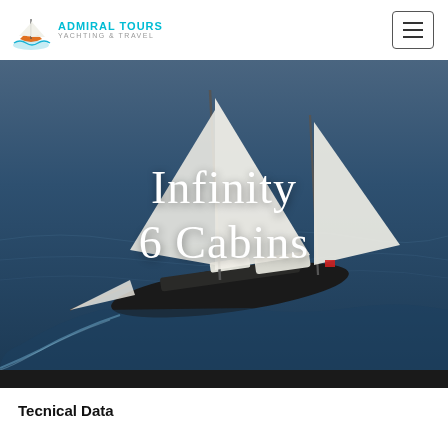[Figure (logo): Admiral Tours Yachting & Travel logo with orange sailboat icon and teal text]
[Figure (photo): Aerial photo of a large sailing yacht named Infinity with white sails open, sailing on dark blue sea]
Infinity
6 Cabins
Tecnical Data